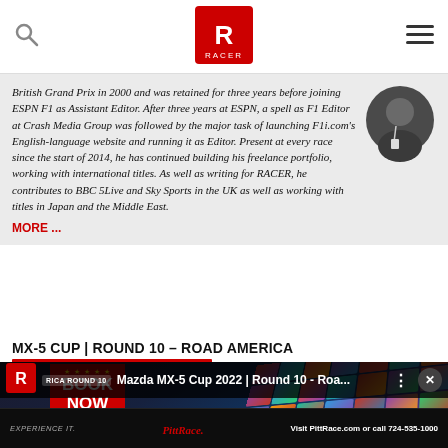RACER - header navigation bar with search icon, RACER logo, and menu icon
British Grand Prix in 2000 and was retained for three years before joining ESPN F1 as Assistant Editor. After three years at ESPN, a spell as F1 Editor at Crash Media Group was followed by the major task of launching F1i.com's English-language website and running it as Editor. Present at every race since the start of 2014, he has continued building his freelance portfolio, working with international titles. As well as writing for RACER, he contributes to BBC 5Live and Sky Sports in the UK as well as working with titles in Japan and the Middle East.
MORE ...
MX-5 CUP | ROUND 10 – ROAD AMERICA
[Figure (screenshot): Video thumbnail showing Mazda MX-5 Cup 2022 | Round 10 - Roa... with RACER logo, video controls, Book Now promotional banner, and bottom PittRace.com advertisement bar reading: EXPERIENCE IT. PittRace logo. Visit PittRace.com or call 724-535-1000]